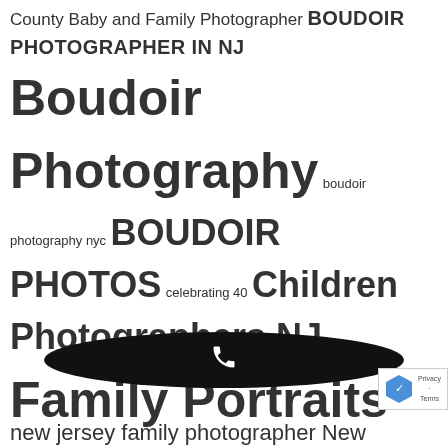County Baby and Family Photographer BOUDOIR PHOTOGRAPHER IN NJ Boudoir Photography boudoir photography nyc BOUDOIR PHOTOS celebrating 40 Children Photographers NJ Family Portraits New Jersey and New York City Je Revele je revele fine art photography Manhattan Newborn Photographer NYC Manhattan Newborn Photographers maternity photos maternity photos nj natalie licini Newborn Baby Photography Newborn Photographer NYC NEWBORN PHOTOS new jersey baby photos New Jersey Boudoir Photographer new jersey boudoir new jersey family photographer New
[Figure (other): Black oval phone call button with white phone icon in center]
[Figure (other): Google reCAPTCHA badge with Privacy and Terms links]